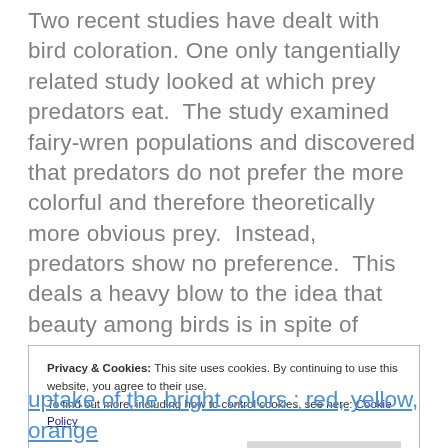Two recent studies have dealt with bird coloration. One only tangentially related study looked at which prey predators eat.  The study examined fairy-wren populations and discovered that predators do not prefer the more colorful and therefore theoretically more obvious prey.  Instead, predators show no preference.  This deals a heavy blow to the idea that beauty among birds is in spite of predation focusing on the more noticeable ones. This idea is based on the idea that the only reason to evolve beauty is to attract a mate, and that it comes with a fitness
Privacy & Cookies: This site uses cookies. By continuing to use this website, you agree to their use.
To find out more, including how to control cookies, see here: Cookie Policy
uptake of the bright colors : red, yellow, orange